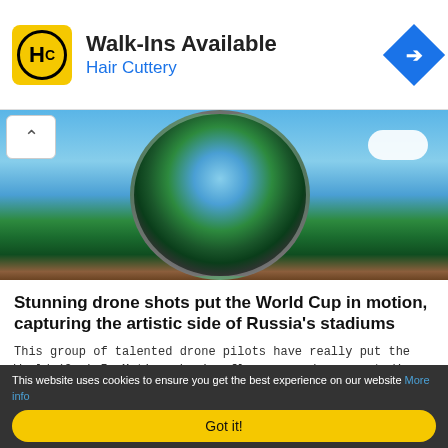[Figure (infographic): Hair Cuttery advertisement banner with logo, 'Walk-Ins Available' headline, and navigation arrow icon]
[Figure (photo): Aerial/drone 360-degree panoramic photo of a World Cup stadium in Russia, shown in a tiny planet effect with blue sky and clouds]
Stunning drone shots put the World Cup in motion, capturing the artistic side of Russia's stadiums
This group of talented drone pilots have really put the World (Cup) In Motion, having flown around every stadium in the tournament and taken stunning ... read more>>
[Figure (photo): Partial photo showing a person and decorative elements including autumn leaves and flowers]
This website uses cookies to ensure you get the best experience on our website More info
Got it!